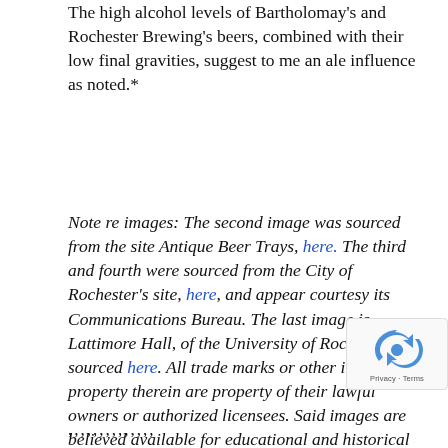The high alcohol levels of Bartholomay's and Rochester Brewing's beers, combined with their low final gravities, suggest to me an ale influence as noted.*
Note re images: The second image was sourced from the site Antique Beer Trays, here. The third and fourth were sourced from the City of Rochester's site, here, and appear courtesy its Communications Bureau. The last image is Lattimore Hall, of the University of Rochester, NY, sourced here. All trade marks or other intellectual property therein are property of their lawful owners or authorized licensees. Said images are believed available for educational and historical purposes. All feedback welcomed.
,,,,,,,,,,,,,,,